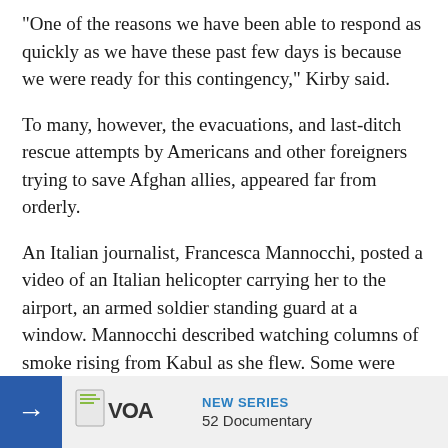"One of the reasons we have been able to respond as quickly as we have these past few days is because we were ready for this contingency," Kirby said.
To many, however, the evacuations, and last-ditch rescue attempts by Americans and other foreigners trying to save Afghan allies, appeared far from orderly.
An Italian journalist, Francesca Mannocchi, posted a video of an Italian helicopter carrying her to the airport, an armed soldier standing guard at a window. Mannocchi described watching columns of smoke rising from Kabul as she flew. Some were from fires that workers at the U.S. Embassy and others were using to keep sensitive material from falling in Talib
She said Afgha
[Figure (logo): VOA (Voice of America) logo with text 'NEW SERIES' and '52 Documentary' on a grey banner with blue arrow]